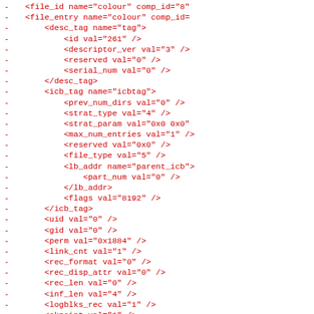- <file_id name="colour" comp_id="8"
- <file_entry name="colour" comp_id=
-     <desc_tag name="tag">
-         <id val="261" />
-         <descriptor_ver val="3" />
-         <reserved val="0" />
-         <serial_num val="0" />
-     </desc_tag>
-     <icb_tag name="icbtag">
-         <prev_num_dirs val="0" />
-         <strat_type val="4" />
-         <strat_param val="0x0 0x0"
-         <max_num_entries val="1" />
-         <reserved val="0x0" />
-         <file_type val="5" />
-         <lb_addr name="parent_icb">
-             <part_num val="0" />
-         </lb_addr>
-         <flags val="8192" />
-     </icb_tag>
-     <uid val="0" />
-     <gid val="0" />
-     <perm val="0x1884" />
-     <link_cnt val="1" />
-     <rec_format val="0" />
-     <rec_disp_attr val="0" />
-     <rec_len val="0" />
-     <inf_len val="4" />
-     <logblks_rec val="1" />
-     <ckpoint val="1" />
-     <long_ad name="ex_attr_icb">
-         <len val="0" />
-         <lb_addr name="l">